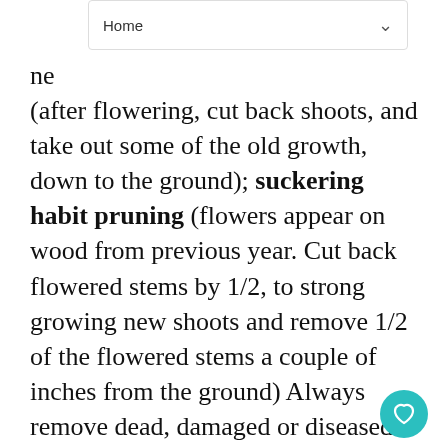Home
ne (after flowering, cut back shoots, and take out some of the old growth, down to the ground); suckering habit pruning (flowers appear on wood from previous year. Cut back flowered stems by 1/2, to strong growing new shoots and remove 1/2 of the flowered stems a couple of inches from the ground) Always remove dead, damaged or diseased wood first, no matter what type of pruning you are doing.
Examples: Minimal: Amelanchier, Aronia, Chimonanthus, Clethra, Cornus alternifolia, Daphne, Fothergilla, Hamamelis, Poncirus, Viburnum. Spring: Abelia, Buddleia, Fuchsia, Hibiscus, Hypericum, Perovskia, Spirea douglasii/japonica, Tamarix. Summer